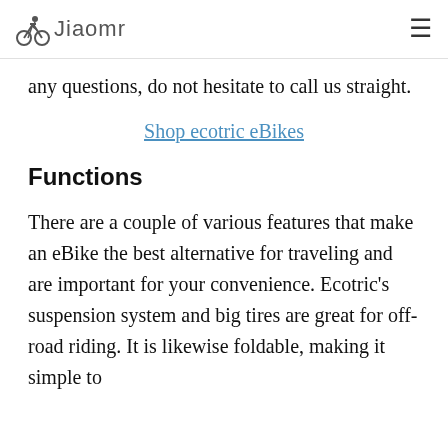Jiaomr
any questions, do not hesitate to call us straight.
Shop ecotric eBikes
Functions
There are a couple of various features that make an eBike the best alternative for traveling and are important for your convenience. Ecotric’s suspension system and big tires are great for off-road riding. It is likewise foldable, making it simple to